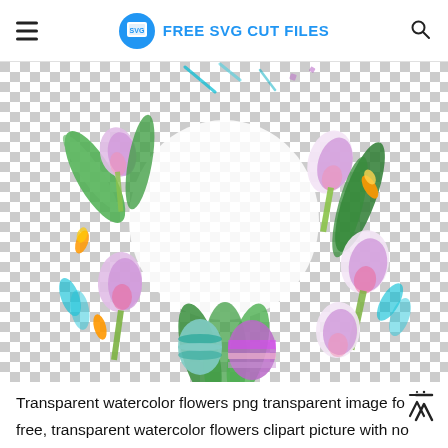FREE SVG CUT FILES
[Figure (illustration): Watercolor wreath made of pink tulips and green leaves with Easter eggs at the bottom, shown on a transparent (checkered) background.]
Transparent watercolor flowers png transparent image for free, transparent watercolor flowers clipart picture with no